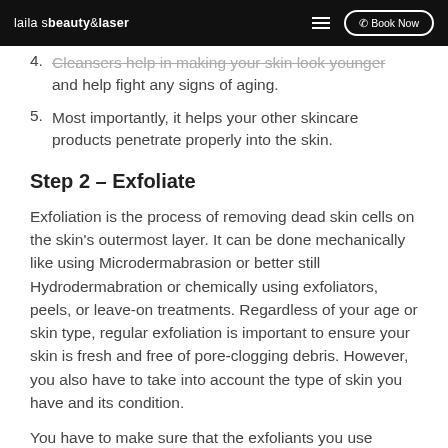lailasbeauty&laser | Book Now
4. Cleansers help in making your skin look younger and help fight any signs of aging.
5. Most importantly, it helps your other skincare products penetrate properly into the skin.
Step 2 – Exfoliate
Exfoliation is the process of removing dead skin cells on the skin's outermost layer. It can be done mechanically like using Microdermabrasion or better still Hydrodermabration or chemically using exfoliators, peels, or leave-on treatments. Regardless of your age or skin type, regular exfoliation is important to ensure your skin is fresh and free of pore-clogging debris. However, you also have to take into account the type of skin you have and its condition.
You have to make sure that the exfoliants you use